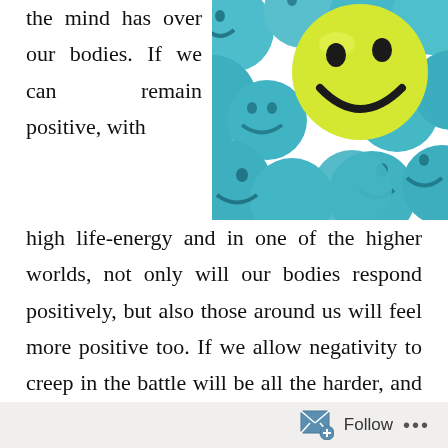the mind has over our bodies. If we can remain positive, with
[Figure (photo): A yellow smiley face ball standing out among many teal/blue smiley face balls]
high life-energy and in one of the higher worlds, not only will our bodies respond positively, but also those around us will feel more positive too. If we allow negativity to creep in the battle will be all the harder, and we will find that we do not inspire those who need our support to try that little bit harder to support themselves.
The Nichiren phrase for this connection between our body and mind is Shikishin-Funi. Two, but not two, not two, but two, meaning that they are separate, but cannot function
Follow ...